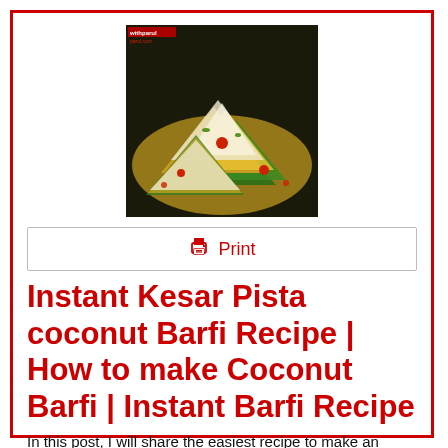[Figure (photo): Photo of Kesar Pista coconut barfi pieces arranged on a decorative plate, showing layered green and yellow sweets dusted with powdered sugar, garnished with red cherry pieces. Watermark 'withparul' visible in top left corner.]
Print
Instant Kesar Pista coconut Barfi Recipe | How to make Coconut Barfi | Instant Barfi Recipe
In this post, I will share the easiest recipe to make an Amazing Kesar Pistachio Coconut Barfi at your Home in Just 10 Minutes...